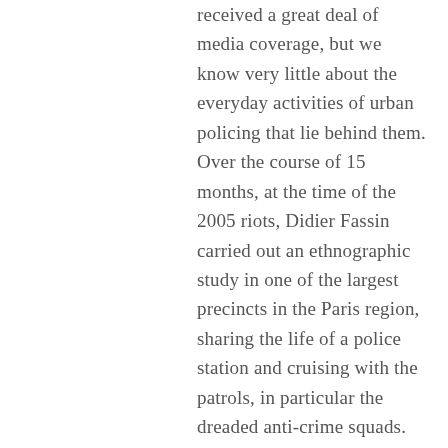received a great deal of media coverage, but we know very little about the everyday activities of urban policing that lie behind them. Over the course of 15 months, at the time of the 2005 riots, Didier Fassin carried out an ethnographic study in one of the largest precincts in the Paris region, sharing the life of a police station and cruising with the patrols, in particular the dreaded anti-crime squads. Describing the invisible manifestations of violence and